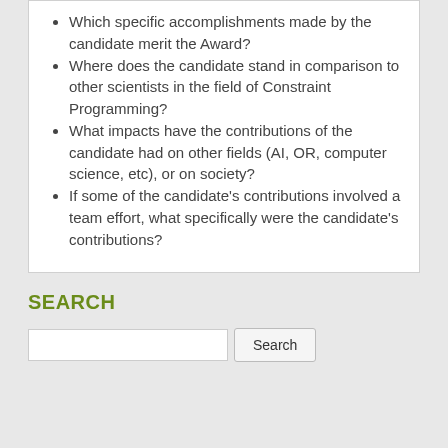Which specific accomplishments made by the candidate merit the Award?
Where does the candidate stand in comparison to other scientists in the field of Constraint Programming?
What impacts have the contributions of the candidate had on other fields (AI, OR, computer science, etc), or on society?
If some of the candidate's contributions involved a team effort, what specifically were the candidate's contributions?
SEARCH